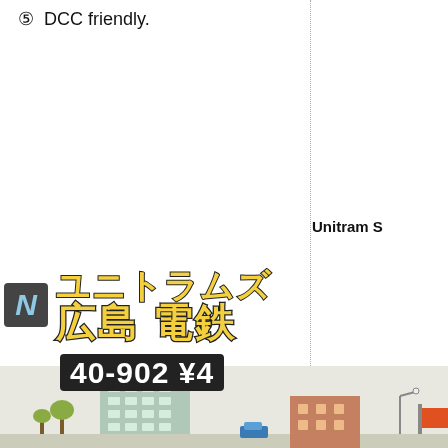⑤  DCC friendly.
Unitram S
[Figure (illustration): Advertisement for a Japanese N-scale model train set featuring the Hiroshima Electric Railway (広島電鉄). Shows the N logo badge, Japanese text ユニトラムス and 広島電鉄, product code 40-902 ¥4..., and a diorama photo of a scale model city scene with buildings and trams.]